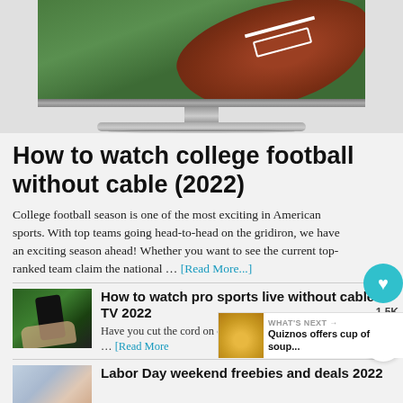[Figure (photo): A TV monitor displaying a football on a green grass field, with TV stand and base visible]
How to watch college football without cable (2022)
College football season is one of the most exciting in American sports. With top teams going head-to-head on the gridiron, we have an exciting season ahead! Whether you want to see the current top-ranked team claim the national … [Read More...]
[Figure (photo): Person holding a TV remote control in front of a sports broadcast]
How to watch pro sports live without cable TV 2022
Have you cut the cord on cable TV, but still want to watch pro … [Read More]
[Figure (photo): Couple smiling outdoors]
Labor Day weekend freebies and deals 2022